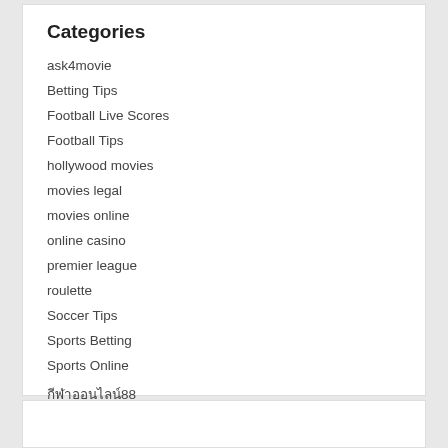Categories
ask4movie
Betting Tips
Football Live Scores
Football Tips
hollywood movies
movies legal
movies online
online casino
premier league
roulette
Soccer Tips
Sports Betting
Sports Online
กีฬาออนไลน์88